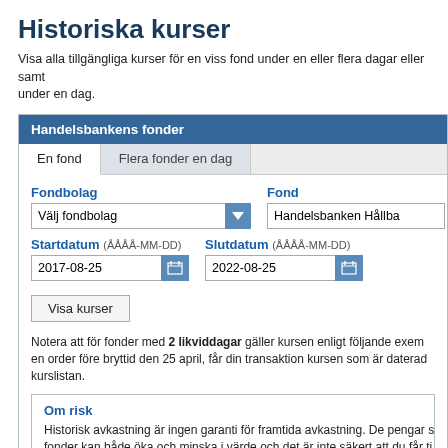Historiska kurser
Visa alla tillgängliga kurser för en viss fond under en eller flera dagar eller samt under en dag.
Handelsbankens fonder
En fond    Flera fonder en dag
Fondbolag
Välj fondbolag
Fond
Handelsbanken Hållba...
Startdatum (ÅÅÅÅ-MM-DD)
2017-08-25
Slutdatum (ÅÅÅÅ-MM-DD)
2022-08-25
Visa kurser
Notera att för fonder med 2 likviddagar gäller kursen enligt följande exem en order före bryttid den 25 april, får din transaktion kursen som är daterad kurslistan.
Om risk
Historisk avkastning är ingen garanti för framtida avkastning. De pengar s fonder kan både öka och minska i värde och det är inte säkert att du får ti insatta beloppet.